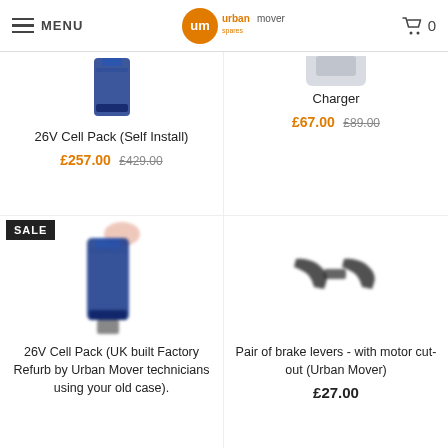MENU | urbanmover | 0
[Figure (photo): Blue battery cell pack product image (partially visible at top)]
26V Cell Pack (Self Install)
£257.00 £429.00
[Figure (photo): urbanmover charger product image (partially visible, cut off at top)]
Charger
£67.00 £89.00
[Figure (photo): Blue 26V cell pack (UK built factory refurb) with SALE badge]
26V Cell Pack (UK built Factory Refurb by Urban Mover technicians using your old case).
[Figure (photo): Pair of brake levers with motor cut-out for Urban Mover]
Pair of brake levers - with motor cut-out (Urban Mover)
£27.00